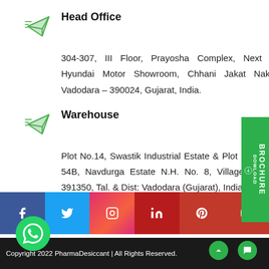Head Office
304-307, III Floor, Prayosha Complex, Next to Hyundai Motor Showroom, Chhani Jakat Naka, Vadodara – 390024, Gujarat, India.
Warehouse
Plot No.14, Swastik Industrial Estate & Plot No. 53 & 54B, Navdurga Estate N.H. No. 8, Village: Sanka 391350, Tal. & Dist: Vadodara (Gujarat), India.
[Figure (infographic): Social media icons bar: Facebook, Twitter, Instagram, LinkedIn, Pinterest, YouTube]
Copyright 2022 PharmaDesiccant | All Rights Reserved.